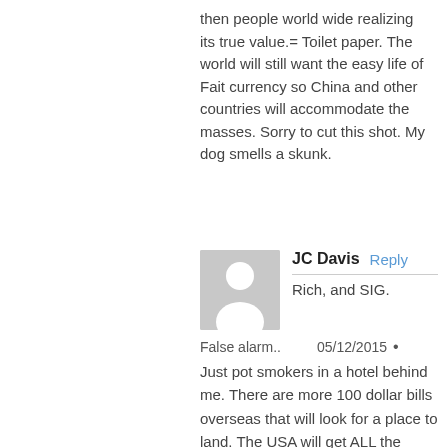then people world wide realizing its true value.= Toilet paper. The world will still want the easy life of Fait currency so China and other countries will accommodate the masses. Sorry to cut this shot. My dog smells a skunk.
[Figure (illustration): Generic user avatar: gray square background with a white silhouette of a person (circle head, rounded torso)]
JC Davis   Reply
——————————————————
Rich, and SIG.
False alarm..  05/12/2015 •
Just pot smokers in a hotel behind me. There are more 100 dollar bills overseas that will look for a place to land. The USA will get ALL the (paper) money it created to be the world currency.. Coming